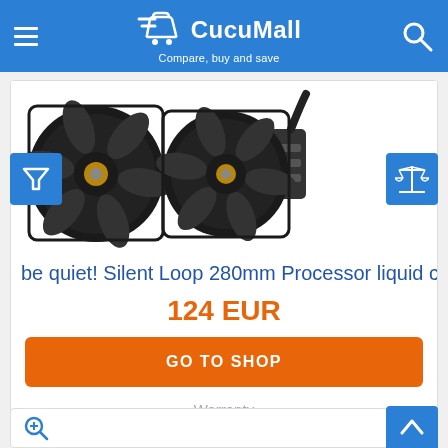CucuMall — Compare, buy and save
[Figure (photo): be quiet! Silent Loop 280mm liquid cooler with two black fans and radiator/pump block]
be quiet! Silent Loop 280mm Processor liquid coo
124 EUR
GO TO SHOP
Warranty